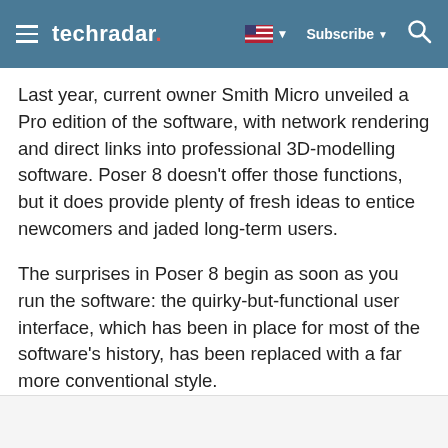techradar — Subscribe
Last year, current owner Smith Micro unveiled a Pro edition of the software, with network rendering and direct links into professional 3D-modelling software. Poser 8 doesn't offer those functions, but it does provide plenty of fresh ideas to entice newcomers and jaded long-term users.
The surprises in Poser 8 begin as soon as you run the software: the quirky-but-functional user interface, which has been in place for most of the software's history, has been replaced with a far more conventional style.